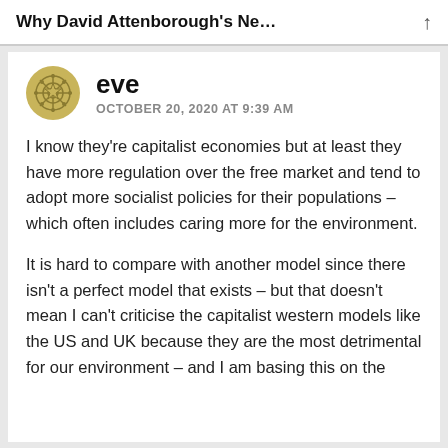Why David Attenborough's Ne…
eve
OCTOBER 20, 2020 AT 9:39 AM
I know they're capitalist economies but at least they have more regulation over the free market and tend to adopt more socialist policies for their populations – which often includes caring more for the environment.
It is hard to compare with another model since there isn't a perfect model that exists – but that doesn't mean I can't criticise the capitalist western models like the US and UK because they are the most detrimental for our environment – and I am basing this on the